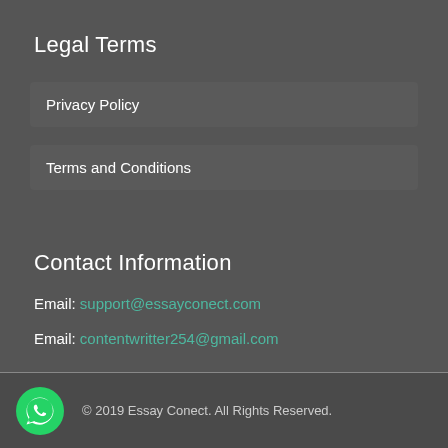Legal Terms
Privacy Policy
Terms and Conditions
Contact Information
Email: support@essayconect.com
Email: contentwritter254@gmail.com
© 2019 Essay Conect. All Rights Reserved.